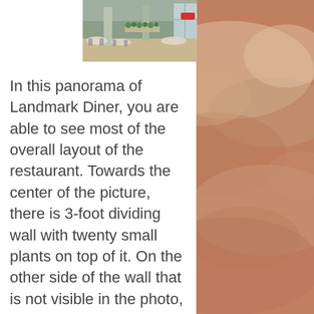[Figure (photo): Interior panorama photo of Landmark Diner showing seating area and restaurant layout]
In this panorama of Landmark Diner, you are able to see most of the overall layout of the restaurant. Towards the center of the picture, there is 3-foot dividing wall with twenty small plants on top of it. On the other side of the wall that is not visible in the photo, there are two more tables and seating at the bar counter that can sit up to fifteen people. There is a glass cooler located beside the bar counter with a variety of cakes on display. On the left side of the picture, there are two marble